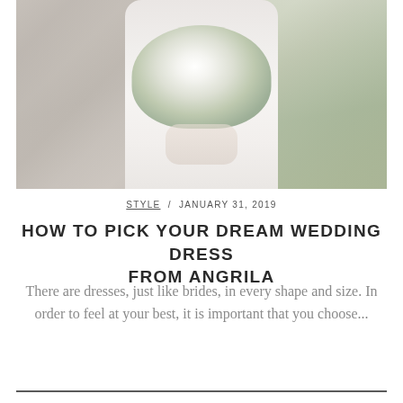[Figure (photo): Bride in white lace dress holding a large white and green floral bouquet, standing against a stone wall background]
STYLE / JANUARY 31, 2019
HOW TO PICK YOUR DREAM WEDDING DRESS FROM ANGRILA
There are dresses, just like brides, in every shape and size. In order to feel at your best, it is important that you choose...